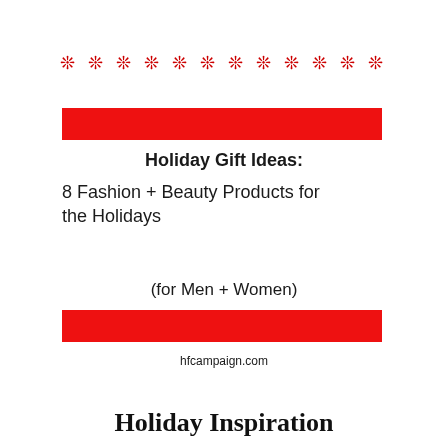[Figure (illustration): Row of red snowflake/asterisk decorative symbols]
[Figure (illustration): Solid red horizontal bar (top)]
Holiday Gift Ideas:
8 Fashion + Beauty Products for the Holidays
(for Men + Women)
[Figure (illustration): Solid red horizontal bar (bottom)]
hfcampaign.com
Holiday Inspiration